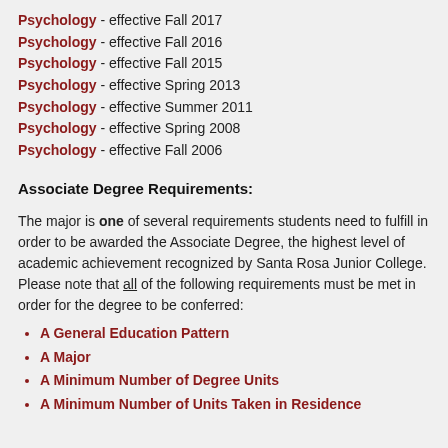Psychology - effective Fall 2017
Psychology - effective Fall 2016
Psychology - effective Fall 2015
Psychology - effective Spring 2013
Psychology - effective Summer 2011
Psychology - effective Spring 2008
Psychology - effective Fall 2006
Associate Degree Requirements:
The major is one of several requirements students need to fulfill in order to be awarded the Associate Degree, the highest level of academic achievement recognized by Santa Rosa Junior College. Please note that all of the following requirements must be met in order for the degree to be conferred:
A General Education Pattern
A Major
A Minimum Number of Degree Units
A Minimum Number of Units Taken in Residence